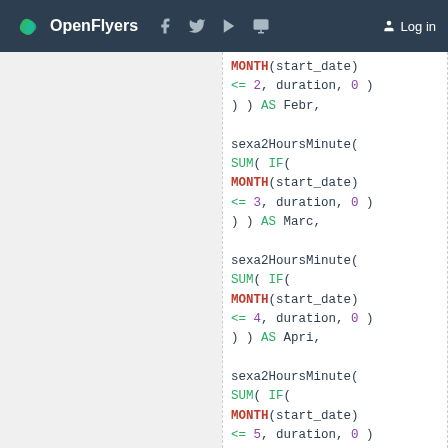OpenFlyers | Log in
SQL code block showing sexa2HoursMinute function calls with SUM, IF, MONTH conditions for Feb, Mar, Apr, May, Jun